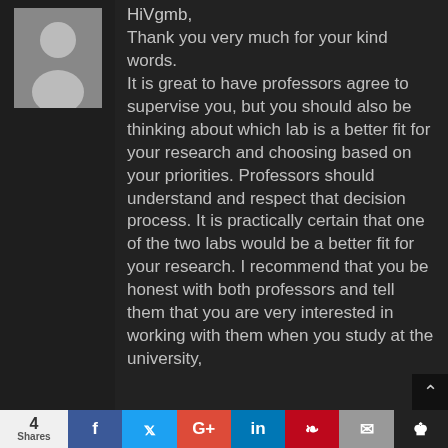[Figure (illustration): User avatar silhouette — generic grey person icon on grey background]
HiVgmb,

Thank you very much for your kind words.

It is great to have professors agree to supervise you, but you should also be thinking about which lab is a better fit for your research and choosing based on your priorities. Professors should understand and respect that decision process. It is practically certain that one of the two labs would be a better fit for your research. I recommend that you be honest with both professors and tell them that you are very interested in working with them when you study at the university,
4 Shares   f   t   G+   in   P   [mail]   [bookmark]